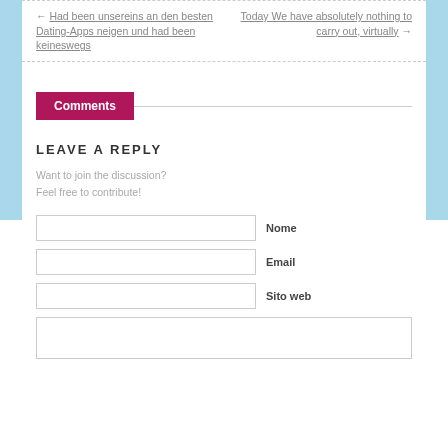← Had been unsereins an den besten Dating-Apps neigen und had been keineswegs
Today We have absolutely nothing to carry out, virtually →
Comments
LEAVE A REPLY
Want to join the discussion?
Feel free to contribute!
Nome
Email
Sito web